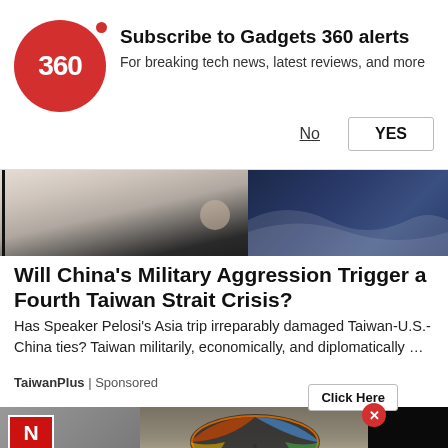[Figure (screenshot): Gadgets 360 subscription notification banner with red circular logo showing '360', bold subscribe text, and Yes/No buttons]
[Figure (photo): Hero image strip showing partial view of a person and ocean/waves on the right side]
Will China's Military Aggression Trigger a Fourth Taiwan Strait Crisis?
Has Speaker Pelosi's Asia trip irreparably damaged Taiwan-U.S.-China ties? Taiwan militarily, economically, and diplomatically …
TaiwanPlus | Sponsored
[Figure (screenshot): Bottom section showing news thumbnails: left panel with N logo (gray background), center panel with a woman under an umbrella, right panel showing a video player with red play button on dark background]
[Figure (screenshot): Video player overlay on right side showing red play button on dark/black background]